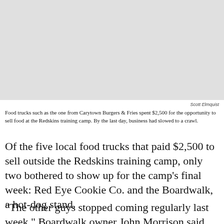[Figure (photo): A light gray rectangular placeholder representing a photo of a food truck from Carytown Burgers & Fries at the Redskins training camp.]
Scott Elmquist
Food trucks such as the one from Carytown Burgers & Fries spent $2,500 for the opportunity to sell food at the Redskins training camp. By the last day, business had slowed to a crawl.
Of the five local food trucks that paid $2,500 to sell outside the Redskins training camp, only two bothered to show up for the camp's final week: Red Eye Cookie Co. and the Boardwalk, a hot-dog stand.
"The other guys stopped coming regularly last week," Boardwalk owner John Morrison said Monday, the last of